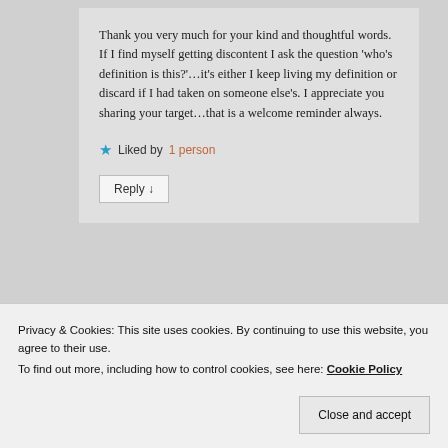Thank you very much for your kind and thoughtful words. If I find myself getting discontent I ask the question 'who's definition is this?'…it's either I keep living my definition or discard if I had taken on someone else's. I appreciate you sharing your target…that is a welcome reminder always.
★ Liked by 1 person
Reply ↓
Privacy & Cookies: This site uses cookies. By continuing to use this website, you agree to their use. To find out more, including how to control cookies, see here: Cookie Policy
Close and accept